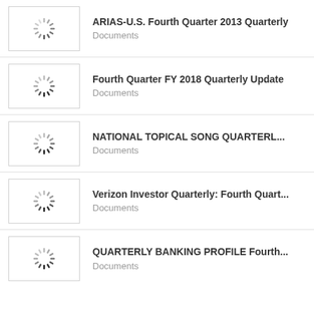ARIAS-U.S. Fourth Quarter 2013 Quarterly — Documents
Fourth Quarter FY 2018 Quarterly Update — Documents
NATIONAL TOPICAL SONG QUARTERL... — Documents
Verizon Investor Quarterly: Fourth Quart... — Documents
QUARTERLY BANKING PROFILE Fourth... — Documents